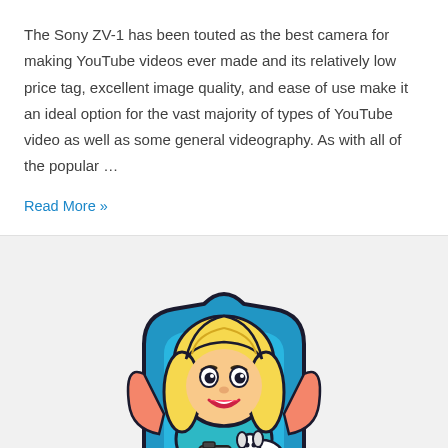The Sony ZV-1 has been touted as the best camera for making YouTube videos ever made and its relatively low price tag, excellent image quality, and ease of use make it an ideal option for the vast majority of types of YouTube video as well as some general videography. As with all of the popular …
Read More »
[Figure (illustration): Cartoon illustration of a smiling blonde woman holding a camera and a small white dog, seated in a stylized blue chair/throne shape.]